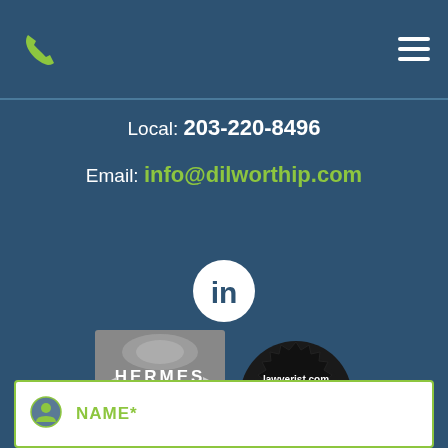Phone icon | Hamburger menu
Local: 203-220-8496
Email: info@dilworthip.com
[Figure (logo): LinkedIn logo in white circle]
[Figure (logo): Hermes Creative Awards 2019 Platinum Winner badge]
[Figure (logo): Lawyerist.com Best Law Firm Websites 2020 badge]
NAME*